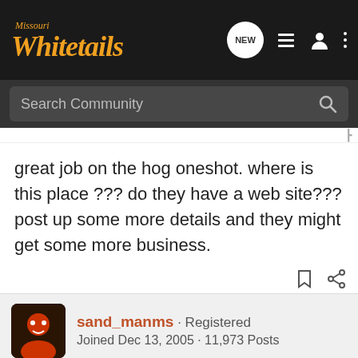Missouri Whitetails
Search Community
great job on the hog oneshot. where is this place ??? do they have a web site??? post up some more details and they might get some more business.
sand_manms · Registered
Joined Dec 13, 2005 · 11,973 Posts
#16 · Jul
Whhood
[Figure (screenshot): Cabela's ad banner: Cabela's logo, RELOADING SUPPLIES text, SHOP NOW button on olive green background]